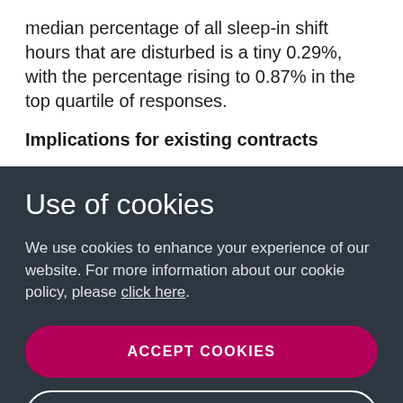median percentage of all sleep-in shift hours that are disturbed is a tiny 0.29%, with the percentage rising to 0.87% in the top quartile of responses.
Implications for existing contracts
Use of cookies
We use cookies to enhance your experience of our website. For more information about our cookie policy, please click here.
ACCEPT COOKIES
MANAGE PERMISSIONS